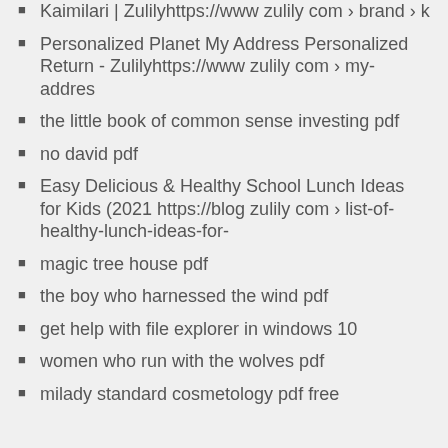Kaimilari | Zulilyhttps://www zulily com › brand › k
Personalized Planet My Address Personalized Return - Zulilyhttps://www zulily com › my-addres
the little book of common sense investing pdf
no david pdf
Easy Delicious & Healthy School Lunch Ideas for Kids (2021 https://blog zulily com › list-of-healthy-lunch-ideas-for-
magic tree house pdf
the boy who harnessed the wind pdf
get help with file explorer in windows 10
women who run with the wolves pdf
milady standard cosmetology pdf free